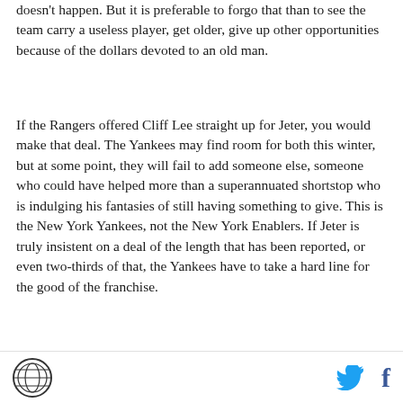doesn't happen. But it is preferable to forgo that than to see the team carry a useless player, get older, give up other opportunities because of the dollars devoted to an old man.
If the Rangers offered Cliff Lee straight up for Jeter, you would make that deal. The Yankees may find room for both this winter, but at some point, they will fail to add someone else, someone who could have helped more than a superannuated shortstop who is indulging his fantasies of still having something to give. This is the New York Yankees, not the New York Enablers. If Jeter is truly insistent on a deal of the length that has been reported, or even two-thirds of that, the Yankees have to take a hard line for the good of the franchise.
logo | twitter | facebook